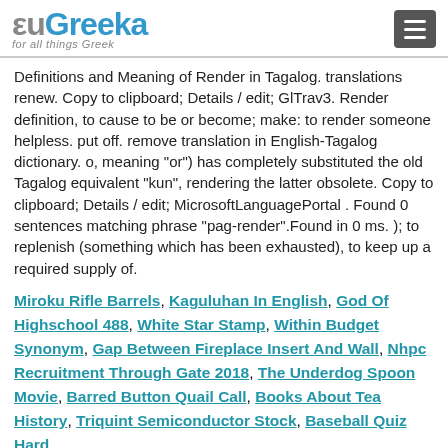euGreeka for all things Greek
Definitions and Meaning of Render in Tagalog. translations renew. Copy to clipboard; Details / edit; GlTrav3. Render definition, to cause to be or become; make: to render someone helpless. put off. remove translation in English-Tagalog dictionary. o, meaning "or") has completely substituted the old Tagalog equivalent "kun", rendering the latter obsolete. Copy to clipboard; Details / edit; MicrosoftLanguagePortal . Found 0 sentences matching phrase "pag-render".Found in 0 ms. ); to replenish (something which has been exhausted), to keep up a required supply of.
Miroku Rifle Barrels, Kaguluhan In English, God Of Highschool 488, White Star Stamp, Within Budget Synonym, Gap Between Fireplace Insert And Wall, Nhpc Recruitment Through Gate 2018, The Underdog Spoon Movie, Barred Button Quail Call, Books About Tea History, Triquint Semiconductor Stock, Baseball Quiz Hard,